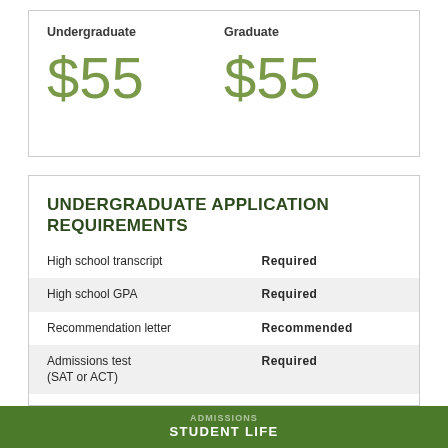| Undergraduate | Graduate |
| --- | --- |
| $55 | $55 |
UNDERGRADUATE APPLICATION REQUIREMENTS
|  |  |
| --- | --- |
| High school transcript | Required |
| High school GPA | Required |
| Recommendation letter | Recommended |
| Admissions test (SAT or ACT) | Required |
| TOEFL (international students) | Required |
| Completion of college... | Required |
ADMISSIONS STUDENT LIFE